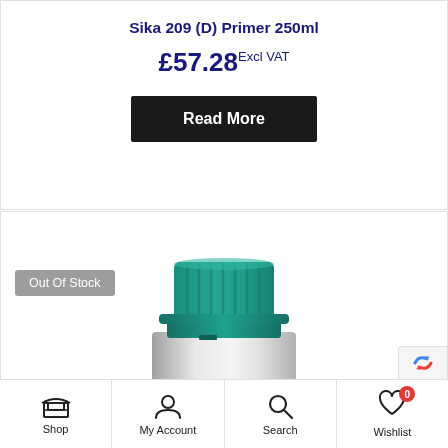Sika 209 (D) Primer 250ml
£57.28 Excl VAT
Read More
[Figure (photo): Close-up photo of a product bottle with a green ribbed cap/lid, silver/metallic body, white label area at bottom. An 'Out Of Stock' badge is shown overlaid on the image.]
Shop | My Account | Search | Wishlist (0)